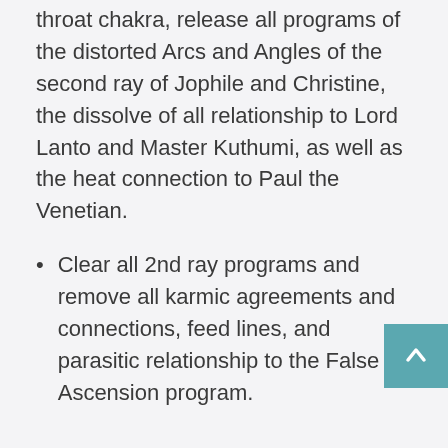throat chakra, release all programs of the distorted Arcs and Angles of the second ray of Jophile and Christine, the dissolve of all relationship to Lord Lanto and Master Kuthumi, as well as the heat connection to Paul the Venetian.
Clear all 2nd ray programs and remove all karmic agreements and connections, feed lines, and parasitic relationship to the False Ascension program.
Amplify personal sovereignty, unify the Heart-Brain through zero point window, blend and merge the Divine Masculine and Feminine, courageously express your divinity